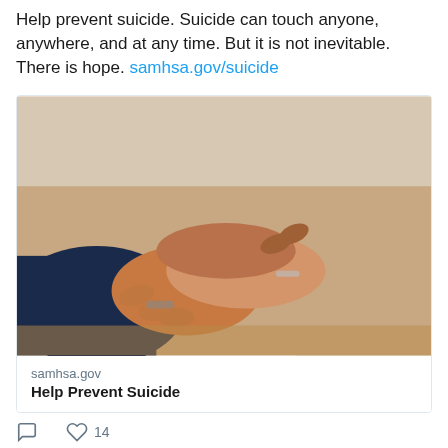Help prevent suicide. Suicide can touch anyone, anywhere, and at any time. But it is not inevitable. There is hope. samhsa.gov/suicide
[Figure (photo): Two pairs of hands clasped together in a supportive gesture on a table, suggesting comfort and support.]
samhsa.gov
Help Prevent Suicide
14 likes
OR Youth Authority Retweeted
SAMH...